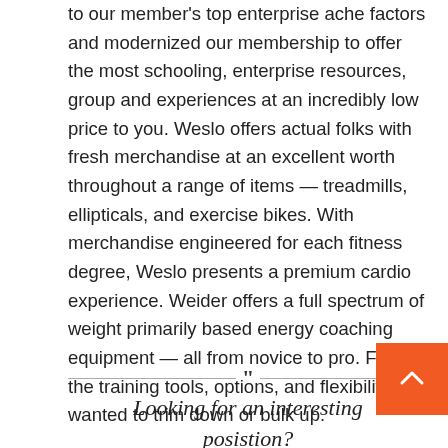to our member's top enterprise ache factors and modernized our membership to offer the most schooling, enterprise resources, group and experiences at an incredibly low price to you. Weslo offers actual folks with fresh merchandise at an excellent worth throughout a range of items — treadmills, ellipticals, and exercise bikes. With merchandise engineered for each fitness degree, Weslo presents a premium cardio experience. Weider offers a full spectrum of weight primarily based energy coaching equipment — all from novice to pro. Find the training tools, options, and flexibility wanted to trim down or bulk up.
[Figure (other): Decorative divider with quotation mark in center, and orange scroll-to-top button on the right]
Looking for an interesting posistion?